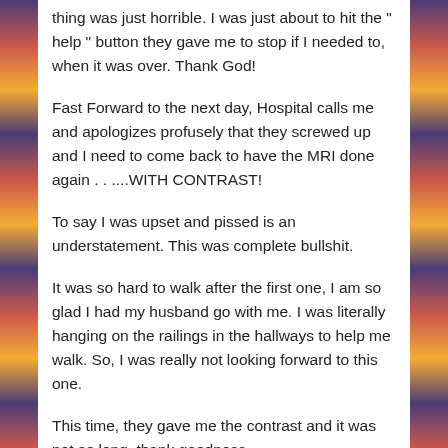thing was just horrible.  I was just about to hit the " help " button they gave me to stop if I needed to, when it was over. Thank God!
Fast Forward to the next day, Hospital calls me and apologizes profusely that they screwed up and I need to come back to have the MRI done again . . ...WITH CONTRAST!
To say I was upset and pissed is an understatement. This was complete bullshit.
It was so hard to walk after the first one, I am so glad I had my husband go with me. I was literally hanging on the railings in the hallways to help me walk. So, I was really not looking forward to this one.
This time, they gave me the contrast and it was not as long, thank goodness.